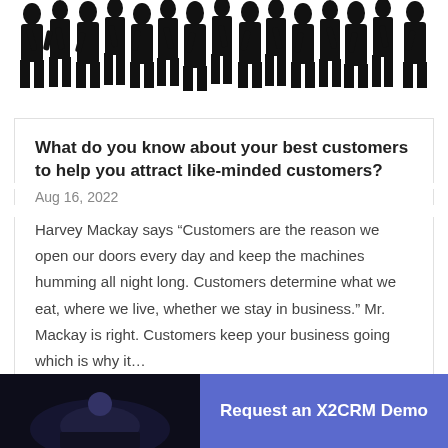[Figure (illustration): Black silhouette illustration of a large crowd of people standing together across the top of the page]
What do you know about your best customers to help you attract like-minded customers?
Aug 16, 2022
Harvey Mackay says “Customers are the reason we open our doors every day and keep the machines humming all night long. Customers determine what we eat, where we live, whether we stay in business.” Mr. Mackay is right. Customers keep your business going which is why it…
[Figure (photo): Dark photograph at the bottom left, partially visible]
Request an X2CRM Demo